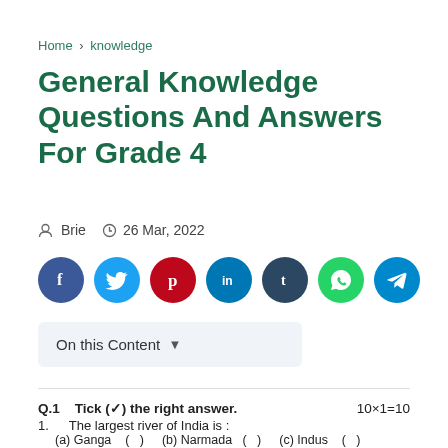Home › knowledge
General Knowledge Questions And Answers For Grade 4
Brie   26 Mar, 2022
[Figure (infographic): Row of 7 colored social media share buttons: Facebook (dark blue), Twitter (light blue), Pinterest (red), LinkedIn (dark blue), Tumblr (dark navy), WhatsApp (green), Telegram (blue)]
On this Content  ▾
Q.1   Tick (✓) the right answer.   10×1=10
1. The largest river of India is :
(a) Ganga  (  )   (b) Narmada  (  )   (c) Indus  (  )